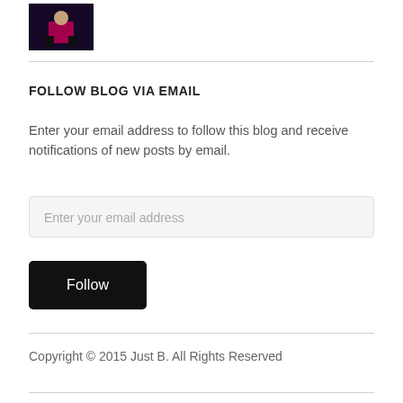[Figure (photo): Small thumbnail photo of a person in pink outfit sitting/crouching, appears to be a sports or action photo with dark background]
FOLLOW BLOG VIA EMAIL
Enter your email address to follow this blog and receive notifications of new posts by email.
Enter your email address
Follow
Copyright © 2015 Just B. All Rights Reserved